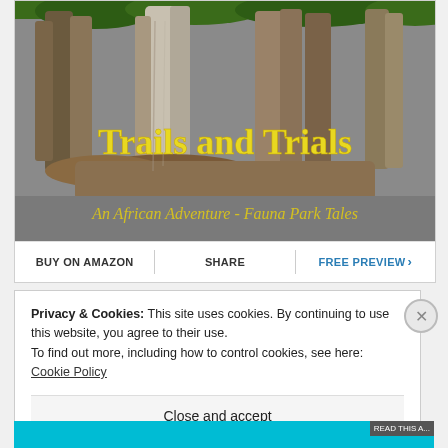[Figure (illustration): Book cover for 'Trails and Trials: An African Adventure - Fauna Park Tales'. Shows a painted/illustrated scene of tree trunks and wildlife in muted brown and grey tones with green foliage at top. Title text in bold yellow: 'Trails and Trials'. Subtitle in yellow italic: 'An African Adventure - Fauna Park Tales'. Cover background is grey.]
BUY ON AMAZON | SHARE | FREE PREVIEW >
Privacy & Cookies: This site uses cookies. By continuing to use this website, you agree to their use.
To find out more, including how to control cookies, see here: Cookie Policy
Close and accept